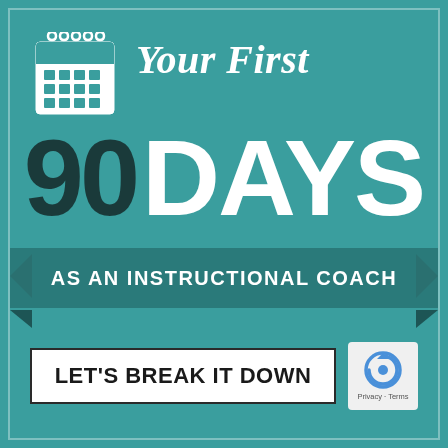[Figure (infographic): Infographic with teal background showing 'Your First 90 Days as an Instructional Coach' with a calendar icon, large bold text, a ribbon banner, and a 'Let's Break It Down' button]
Your First 90 DAYS
AS AN INSTRUCTIONAL COACH
LET'S BREAK IT DOWN